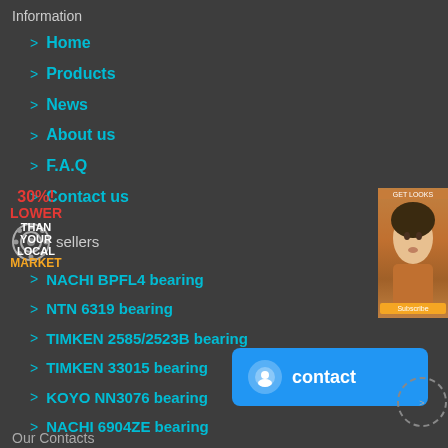Information
Home
Products
News
About us
F.A.Q
Contact us
sellers
NACHI BPFL4 bearing
NTN 6319 bearing
TIMKEN 2585/2523B bearing
TIMKEN 33015 bearing
KOYO NN3076 bearing
NACHI 6904ZE bearing
INA DM70 bearing
SKF E2.6302-2Z bearing
Our Contacts